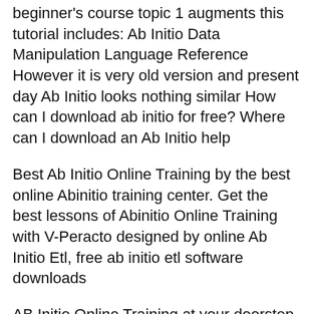beginner's course topic 1 augments this tutorial includes: Ab Initio Data Manipulation Language Reference However it is very old version and present day Ab Initio looks nothing similar How can I download ab initio for free? Where can I download an Ab Initio help
Best Ab Initio Online Training by the best online Abinitio training center. Get the best lessons of Abinitio Online Training with V-Peracto designed by online Ab Initio Etl, free ab initio etl software downloads
AB Initio Online Training at your doorstep and complete AB Initio Training by our experienced trainers. Call for a FREE ABAINITIO Online DEMO. However it is very old version and present